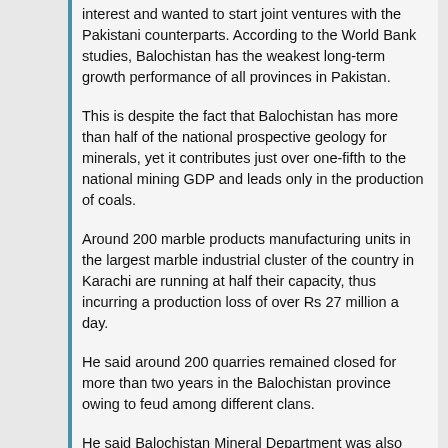interest and wanted to start joint ventures with the Pakistani counterparts. According to the World Bank studies, Balochistan has the weakest long-term growth performance of all provinces in Pakistan.
This is despite the fact that Balochistan has more than half of the national prospective geology for minerals, yet it contributes just over one-fifth to the national mining GDP and leads only in the production of coals.
Around 200 marble products manufacturing units in the largest marble industrial cluster of the country in Karachi are running at half their capacity, thus incurring a production loss of over Rs 27 million a day.
He said around 200 quarries remained closed for more than two years in the Balochistan province owing to feud among different clans.
He said Balochistan Mineral Department was also facing a net loss of Rs 600,000 per day in the form of not getting quarry lease fee.
He said mining and quarry sector contributes nearly 0.6 percent to Pakistan's GDP with an estimated value addition of more than Rs 13.5 billion...